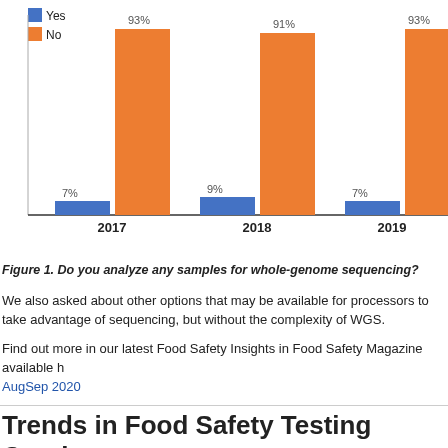[Figure (grouped-bar-chart): Do you analyze any samples for whole-genome sequencing?]
Figure 1. Do you analyze any samples for whole-genome sequencing?
We also asked about other options that may be available for processors to take advantage of sequencing, but without the complexity of WGS.
Find out more in our latest Food Safety Insights in Food Safety Magazine available here: AugSep 2020
Trends in Food Safety Testing Continue
Posted in: In the News by Bob Ferguson | Comments Off